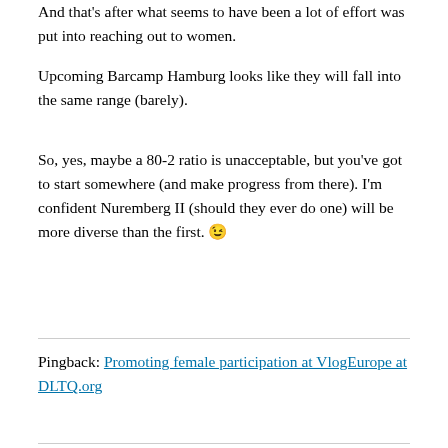And that's after what seems to have been a lot of effort was put into reaching out to women.
Upcoming Barcamp Hamburg looks like they will fall into the same range (barely).
So, yes, maybe a 80-2 ratio is unacceptable, but you've got to start somewhere (and make progress from there). I'm confident Nuremberg II (should they ever do one) will be more diverse than the first. 😉
Pingback: Promoting female participation at VlogEurope at DLTQ.org